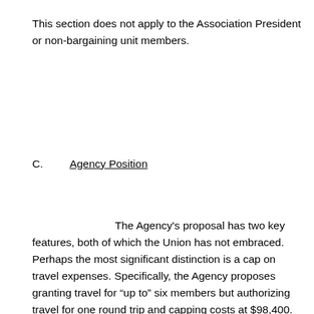This section does not apply to the Association President or non-bargaining unit members.
C.    Agency Position
The Agency's proposal has two key features, both of which the Union has not embraced.  Perhaps the most significant distinction is a cap on travel expenses. Specifically, the Agency proposes granting travel for “up to” six members but authorizing travel for one round trip and capping costs at $98,400.  Management arrived at this figure